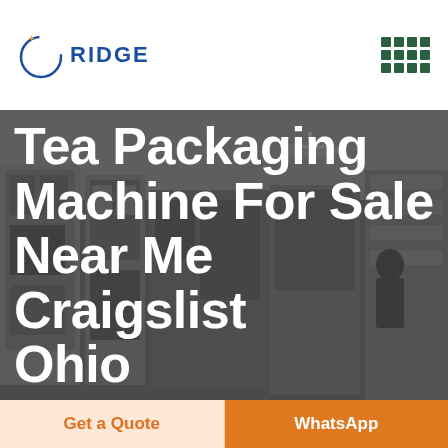RIDGE
[Figure (photo): Industrial packaging machinery in a factory setting, showing large automated equipment and a worker in the background. Dark overlay applied.]
Tea Packaging Machine For Sale Near Me Craigslist Ohio
Get a Quote
WhatsApp